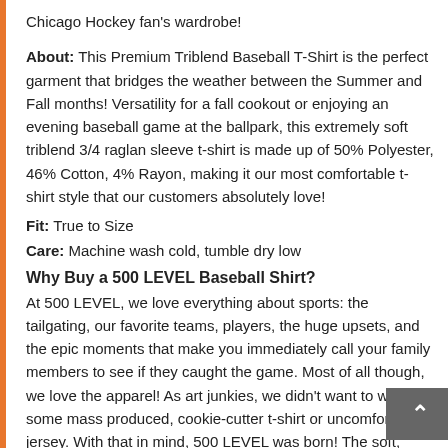Chicago Hockey fan's wardrobe!
About: This Premium Triblend Baseball T-Shirt is the perfect garment that bridges the weather between the Summer and Fall months! Versatility for a fall cookout or enjoying an evening baseball game at the ballpark, this extremely soft triblend 3/4 raglan sleeve t-shirt is made up of 50% Polyester, 46% Cotton, 4% Rayon, making it our most comfortable t-shirt style that our customers absolutely love!
Fit: True to Size
Care: Machine wash cold, tumble dry low
Why Buy a 500 LEVEL Baseball Shirt?
At 500 LEVEL, we love everything about sports: the tailgating, our favorite teams, players, the huge upsets, and the epic moments that make you immediately call your family members to see if they caught the game. Most of all though, we love the apparel! As art junkies, we didn't want to wear some mass produced, cookie-cutter t-shirt or uncomfortable jersey. With that in mind, 500 LEVEL was born! The soft, vintage feel of our